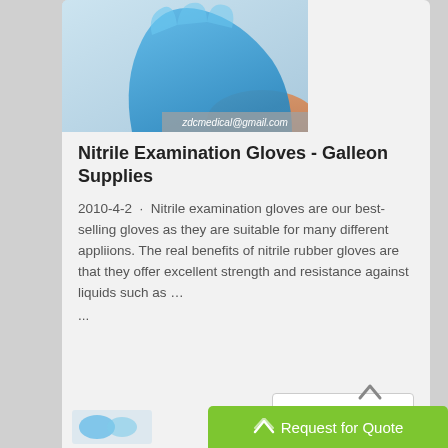[Figure (photo): Blue nitrile glove worn on a hand/arm, cropped product photo with email watermark zdcmedical@gmail.com]
Nitrile Examination Gloves - Galleon Supplies
2010-4-2 · Nitrile examination gloves are our best-selling gloves as they are suitable for many different appliions. The real benefits of nitrile rubber gloves are that they offer excellent strength and resistance against liquids such as …
...
[Figure (screenshot): Get Price button — white rounded rectangle button]
[Figure (photo): Partial second card visible at bottom with product image]
[Figure (other): Request for Quote green button with upward chevron arrow icon]